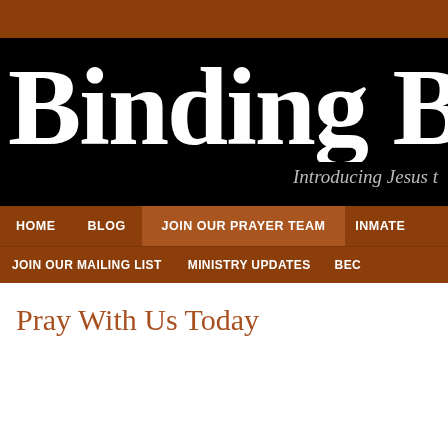Binding B...
Introducing Jesus t...
HOME
BLOG
JOIN OUR PRAYER TEAM
INMATE...
JOIN OUR MAILING LIST
MINISTRY UPDATES
BEC...
Pray With Us Today